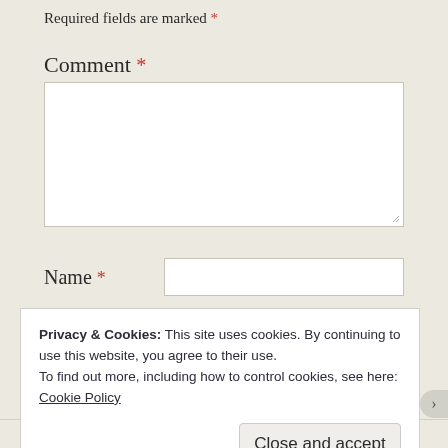Required fields are marked *
Comment *
[Figure (screenshot): Comment textarea input box (empty, white background with border)]
Name *
[Figure (screenshot): Name text input field (empty, white background with border)]
Email *
[Figure (screenshot): Email text input field (empty, white background with border)]
Website
[Figure (screenshot): Website text input field (empty, white background with border)]
Privacy & Cookies: This site uses cookies. By continuing to use this website, you agree to their use.
To find out more, including how to control cookies, see here: Cookie Policy
Close and accept